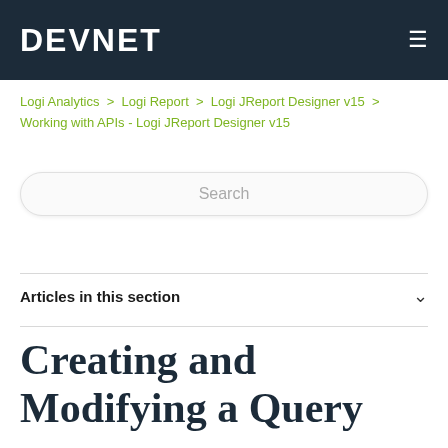DEVNET
Logi Analytics > Logi Report > Logi JReport Designer v15 > Working with APIs - Logi JReport Designer v15
Search
Articles in this section
Creating and Modifying a Query